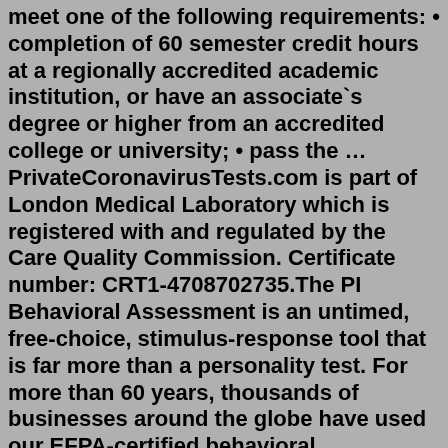meet one of the following requirements: • completion of 60 semester credit hours at a regionally accredited academic institution, or have an associate`s degree or higher from an accredited college or university; • pass the … PrivateCoronavirusTests.com is part of London Medical Laboratory which is registered with and regulated by the Care Quality Commission. Certificate number: CRT1-4708702735.The PI Behavioral Assessment is an untimed, free-choice, stimulus-response tool that is far more than a personality test. For more than 60 years, thousands of businesses around the globe have used our EFPA-certified behavioral assessment to understand the personality traits that make their employees...The Principal Preparation and Certification Program (PPCP) provides an alternative to the traditional certification path for ESC Region 12 customers. Upon completion of all program requirements, a recommendation will be made for Standard Principal Certification.Certificates are normally sent to exam